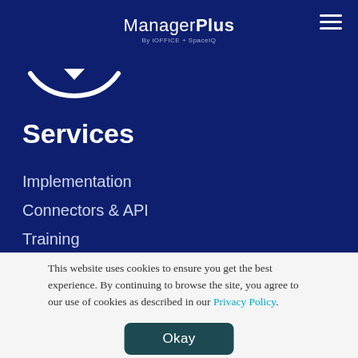ManagerPlus By iOFFICE + SpaceIQ
[Figure (logo): Abstract smile/checkmark logo icon in white on navy background]
Services
Implementation
Connectors & API
Training
This website uses cookies to ensure you get the best experience. By continuing to browse the site, you agree to our use of cookies as described in our Privacy Policy.
Okay